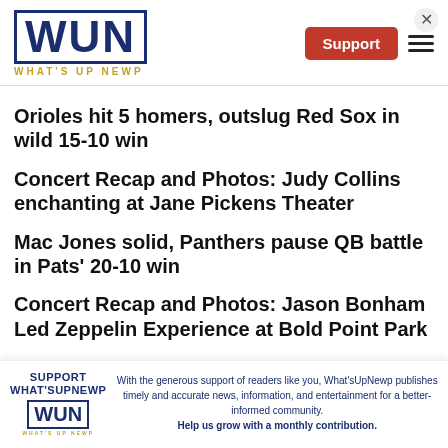WUN WHAT'S UP NEWP
Orioles hit 5 homers, outslug Red Sox in wild 15-10 win
Concert Recap and Photos: Judy Collins enchanting at Jane Pickens Theater
Mac Jones solid, Panthers pause QB battle in Pats' 20-10 win
Concert Recap and Photos: Jason Bonham Led Zeppelin Experience at Bold Point Park
SUPPORT WHAT'SUPNEWP — With the generous support of readers like you, What'sUpNewp publishes timely and accurate news, information, and entertainment for a better-informed community. Help us grow with a monthly contribution.